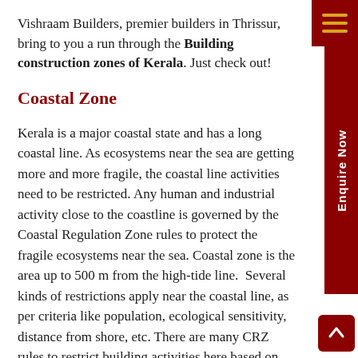Vishraam Builders, premier builders in Thrissur, bring to you a run through the Building construction zones of Kerala. Just check out!
Coastal Zone
Kerala is a major coastal state and has a long coastal line. As ecosystems near the sea are getting more and more fragile, the coastal line activities need to be restricted. Any human and industrial activity close to the coastline is governed by the Coastal Regulation Zone rules to protect the fragile ecosystems near the sea. Coastal zone is the area up to 500 m from the high-tide line. Several kinds of restrictions apply near the coastal line, as per criteria like population, ecological sensitivity, distance from shore, etc. There are many CRZ rules to restrict building activities here based on the fact that areas immediately next to the sea are extremely delicate, home to many marine and